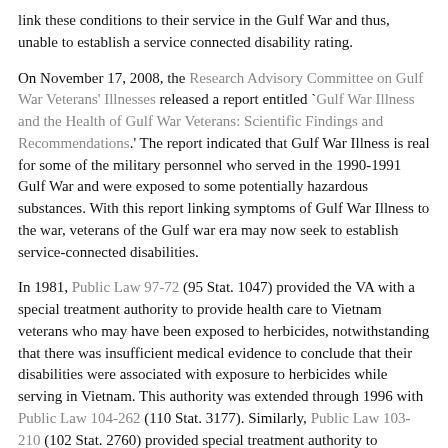link these conditions to their service in the Gulf War and thus, unable to establish a service connected disability rating.
On November 17, 2008, the Research Advisory Committee on Gulf War Veterans' Illnesses released a report entitled 'Gulf War Illness and the Health of Gulf War Veterans: Scientific Findings and Recommendations.' The report indicated that Gulf War Illness is real for some of the military personnel who served in the 1990-1991 Gulf War and were exposed to some potentially hazardous substances. With this report linking symptoms of Gulf War Illness to the war, veterans of the Gulf war era may now seek to establish service-connected disabilities.
In 1981, Public Law 97-72 (95 Stat. 1047) provided the VA with a special treatment authority to provide health care to Vietnam veterans who may have been exposed to herbicides, notwithstanding that there was insufficient medical evidence to conclude that their disabilities were associated with exposure to herbicides while serving in Vietnam. This authority was extended through 1996 with Public Law 104-262 (110 Stat. 3177). Similarly, Public Law 103-210 (102 Stat. 2760) provided special treatment authority to veterans who served in the Persian Gulf War in the